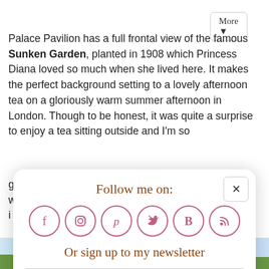More ▼
Palace Pavilion has a full frontal view of the famous Sunken Garden, planted in 1908 which Princess Diana loved so much when she lived here. It makes the perfect background setting to a lovely afternoon tea on a gloriously warm summer afternoon in London. Though to be honest, it was quite a surprise to enjoy a tea sitting outside and I'm so
[Figure (screenshot): Follow me on social media popup overlay with icons for Facebook, Instagram, Pinterest, Twitter, Bloglovin, RSS feed, a newsletter sign-up bar with Subscribe input and Sign Up! button, and a close X button.]